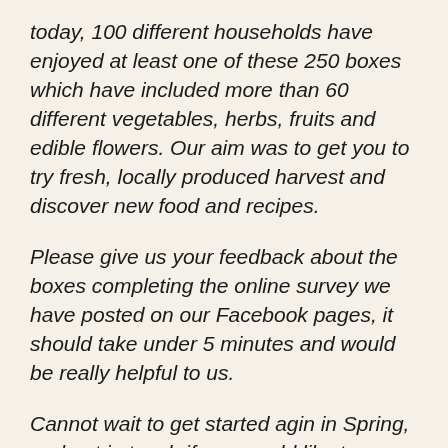today, 100 different households have enjoyed at least one of these 250 boxes which have included more than 60 different vegetables, herbs, fruits and edible flowers. Our aim was to get you to try fresh, locally produced harvest and discover new food and recipes.
Please give us your feedback about the boxes completing the online survey we have posted on our Facebook pages, it should take under 5 minutes and would be really helpful to us.
Cannot wait to get started agin in Spring, and get in touch if you would like to grow at home, volunteer, attend any of our garden workshops or events. Join the Grow Dundee Facebook page or follow our growdundee.blog you can find ideas, advice and